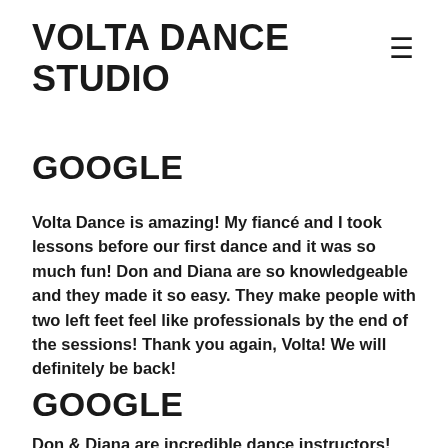VOLTA DANCE STUDIO
GOOGLE
Volta Dance is amazing! My fiancé and I took lessons before our first dance and it was so much fun! Don and Diana are so knowledgeable and they made it so easy. They make people with two left feet feel like professionals by the end of the sessions! Thank you again, Volta! We will definitely be back!
GOOGLE
Don & Diana are incredible dance instructors! They